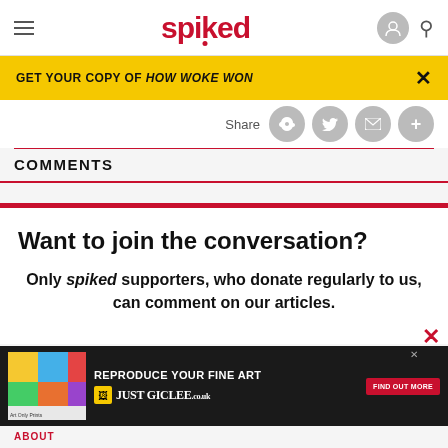[Figure (screenshot): Spiked online magazine website header with red logo, hamburger menu, user icon, and search icon]
GET YOUR COPY OF HOW WOKE WON
Share
COMMENTS
Want to join the conversation?
Only spiked supporters, who donate regularly to us, can comment on our articles.
[Figure (screenshot): Advertisement banner: REPRODUCE YOUR FINE ART - JUST GICLEE.co.uk with FIND OUT MORE button]
ABOUT